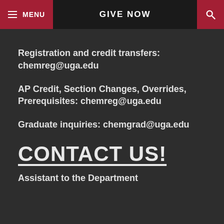MENU   GIVE NOW   [search]
Registration and credit transfers: chemreg@uga.edu
AP Credit, Section Changes, Overrides, Prerequisites: chemreg@uga.edu
Graduate inquiries: chemgrad@uga.edu
CONTACT US!
Assistant to the Department